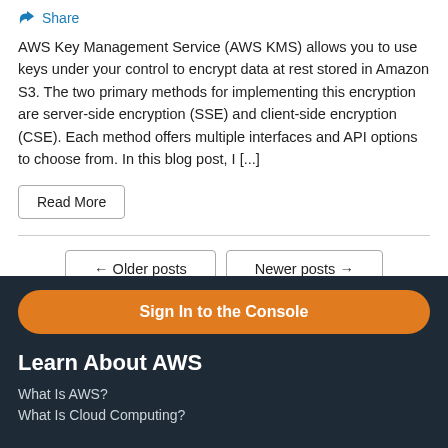Share
AWS Key Management Service (AWS KMS) allows you to use keys under your control to encrypt data at rest stored in Amazon S3. The two primary methods for implementing this encryption are server-side encryption (SSE) and client-side encryption (CSE). Each method offers multiple interfaces and API options to choose from. In this blog post, I [...]
Read More
← Older posts
Newer posts →
Sign In to the Console
Learn About AWS
What Is AWS?
What Is Cloud Computing?